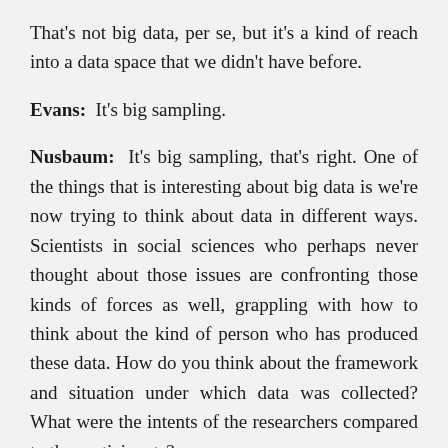That's not big data, per se, but it's a kind of reach into a data space that we didn't have before.
Evans:  It's big sampling.
Nusbaum:  It's big sampling, that's right. One of the things that is interesting about big data is we're now trying to think about data in different ways. Scientists in social sciences who perhaps never thought about those issues are confronting those kinds of forces as well, grappling with how to think about the kind of person who has produced these data. How do you think about the framework and situation under which data was collected? What were the intents of the researchers compared to the participants?